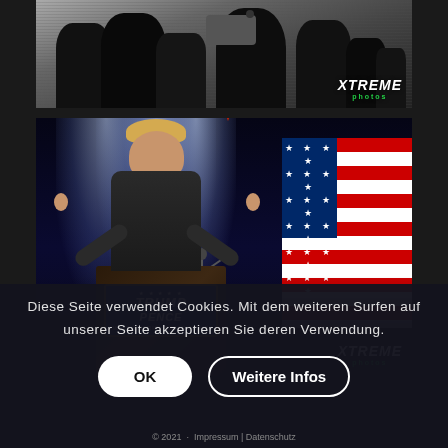[Figure (photo): Black and white photo of crowd/performers on stage with XTREME logo watermark in bottom right]
[Figure (photo): Color photo of a Trump impersonator at a podium with Trump Pence sign, giving thumbs up, with American flag in background and stage lighting. XTREME logo watermark in bottom right.]
Diese Seite verwendet Cookies. Mit dem weiteren Surfen auf unserer Seite akzeptieren Sie deren Verwendung.
© 2021 · Impressum | Datenschutz